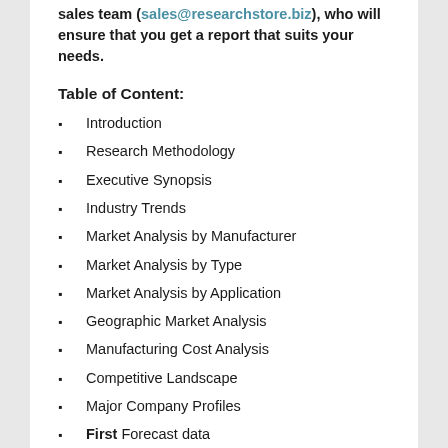sales team (sales@researchstore.biz), who will ensure that you get a report that suits your needs.
Table of Content:
Introduction
Research Methodology
Executive Synopsis
Industry Trends
Market Analysis by Manufacturer
Market Analysis by Type
Market Analysis by Application
Geographic Market Analysis
Manufacturing Cost Analysis
Competitive Landscape
Major Company Profiles
Final Forecast data